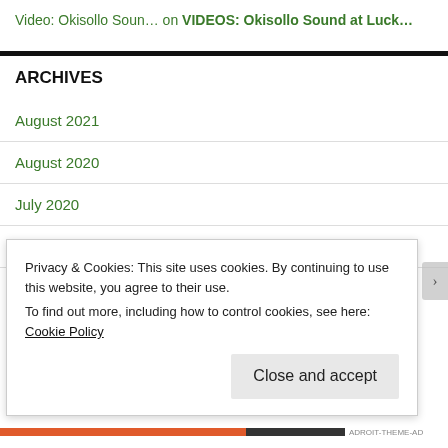Video: Okisollo Soun… on VIDEOS: Okisollo Sound at Luck…
ARCHIVES
August 2021
August 2020
July 2020
March 2020
Privacy & Cookies: This site uses cookies. By continuing to use this website, you agree to their use.
To find out more, including how to control cookies, see here: Cookie Policy
Close and accept